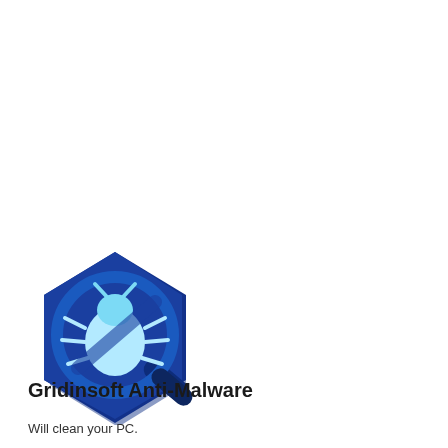[Figure (logo): Gridinsoft Anti-Malware logo: a dark blue hexagon shape with a magnifying glass overlay, featuring a light blue bug/beetle icon in the center]
Gridinsoft Anti-Malware
Will clean your PC.